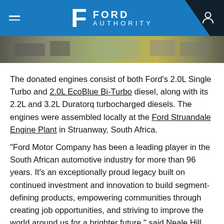Ford Authority
[Figure (photo): Partial view of machinery or engine assembly in a factory setting]
The donated engines consist of both Ford's 2.0L Single Turbo and 2.0L EcoBlue Bi-Turbo diesel, along with its 2.2L and 3.2L Duratorq turbocharged diesels. The engines were assembled locally at the Ford Struandale Engine Plant in Struanway, South Africa.
“Ford Motor Company has been a leading player in the South African automotive industry for more than 96 years. It’s an exceptionally proud legacy built on continued investment and innovation to build segment-defining products, empowering communities through creating job opportunities, and striving to improve the world around us for a brighter future,” said Neale Hill, Managing Director, Ford of South